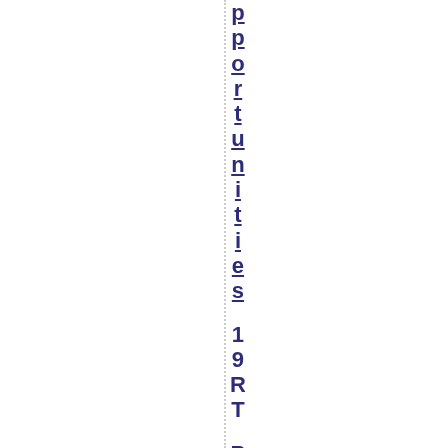pportunities 19RT PrincesStre e
19RT
PrincessStre e